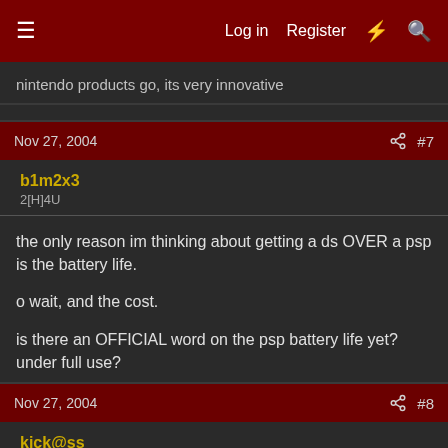☰  Log in  Register  ⚡  🔍
nintendo products go, its very innovative
Nov 27, 2004  #7
b1m2x3
2[H]4U
the only reason im thinking about getting a ds OVER a psp is the battery life.

o wait, and the cost.

is there an OFFICIAL word on the psp battery life yet? under full use?
Nov 27, 2004  #8
kick@ss